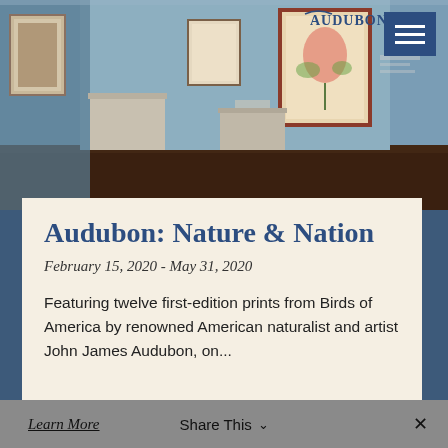[Figure (photo): Interior of an art gallery or museum exhibition space showing framed prints/artworks on walls, display pedestals, and an Audubon logo visible in the upper right corner. The lighting is warm and the walls are a muted blue-grey.]
Audubon: Nature & Nation
February 15, 2020 - May 31, 2020
Featuring twelve first-edition prints from Birds of America by renowned American naturalist and artist John James Audubon, on...
Learn More   Share This   ×